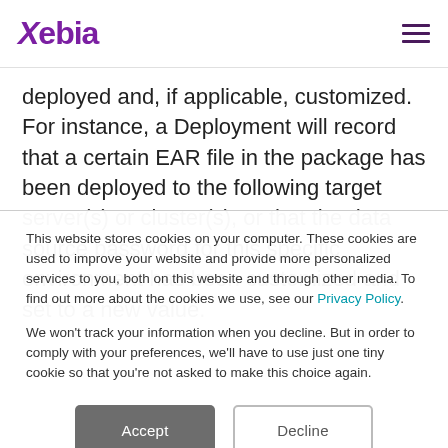Xebia
deployed and, if applicable, customized. For instance, a Deployment will record that a certain EAR file in the package has been deployed to the following target server(s) or cluster(s), or that the data source password for this specific environment has been customized and set to a new value.
This website stores cookies on your computer. These cookies are used to improve your website and provide more personalized services to you, both on this website and through other media. To find out more about the cookies we use, see our Privacy Policy.
We won't track your information when you decline. But in order to comply with your preferences, we'll have to use just one tiny cookie so that you're not asked to make this choice again.